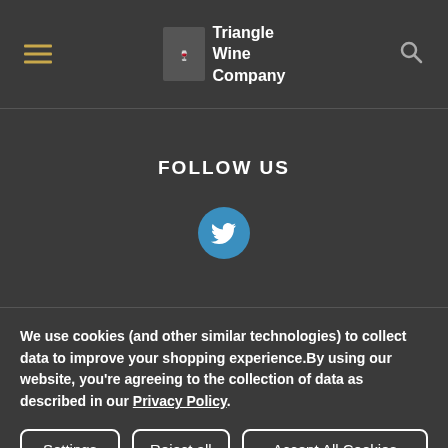[Figure (logo): Triangle Wine Company logo with hamburger menu icon on left and search icon on right in dark header]
FOLLOW US
[Figure (illustration): Twitter bird icon in a blue circle button]
We use cookies (and other similar technologies) to collect data to improve your shopping experience.By using our website, you're agreeing to the collection of data as described in our Privacy Policy.
Settings | Reject all | Accept All Cookies